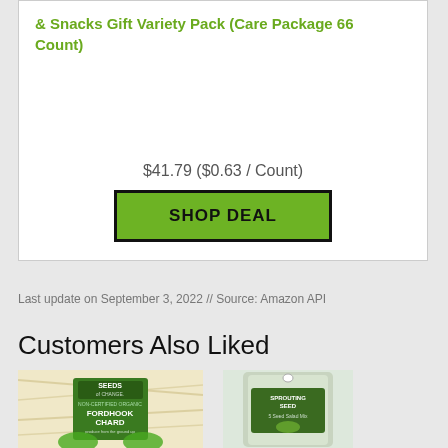& Snacks Gift Variety Pack (Care Package 66 Count)
$41.79 ($0.63 / Count)
SHOP DEAL
Last update on September 3, 2022 // Source: Amazon API
Customers Also Liked
[Figure (photo): Seeds of Change Non-GMO Organic Fordhook Chard seed packet]
[Figure (photo): Sprouting seed bag with green label]